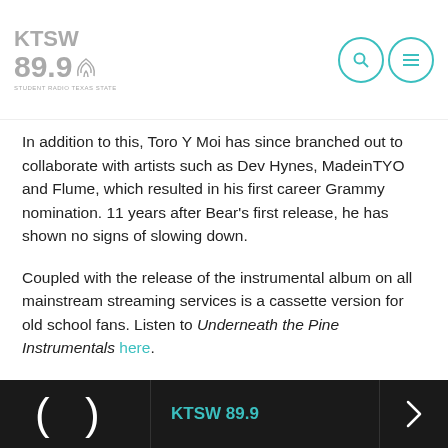KTSW 89.9
In addition to this, Toro Y Moi has since branched out to collaborate with artists such as Dev Hynes, MadeinTYO and Flume, which resulted in his first career Grammy nomination. 11 years after Bear’s first release, he has shown no signs of slowing down.
Coupled with the release of the instrumental album on all mainstream streaming services is a cassette version for old school fans. Listen to Underneath the Pine Instrumentals here.
Feature image courtesy of Toro Y Moi’s Bandcamp.
KTSW 89.9